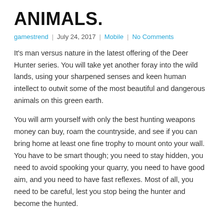ANIMALS.
gamestrend  |  July 24, 2017  |  Mobile  |  No Comments
It's man versus nature in the latest offering of the Deer Hunter series. You will take yet another foray into the wild lands, using your sharpened senses and keen human intellect to outwit some of the most beautiful and dangerous animals on this green earth.
You will arm yourself with only the best hunting weapons money can buy, roam the countryside, and see if you can bring home at least one fine trophy to mount onto your wall. You have to be smart though; you need to stay hidden, you need to avoid spooking your quarry, you need to have good aim, and you need to have fast reflexes. Most of all, you need to be careful, lest you stop being the hunter and become the hunted.